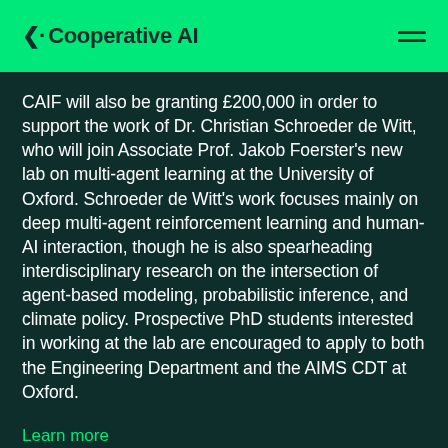Cooperative AI
CAIF will also be granting £200,000 in order to support the work of Dr. Christian Schroeder de Witt, who will join Associate Prof. Jakob Foerster's new lab on multi-agent learning at the University of Oxford. Schroeder de Witt's work focuses mainly on deep multi-agent reinforcement learning and human-AI interaction, though he is also spearheading interdisciplinary research on the intersection of agent-based modeling, probabilistic inference, and climate policy. Prospective PhD students interested in working at the lab are encouraged to apply to both the Engineering Department and the AIMS CDT at Oxford.
Learn more